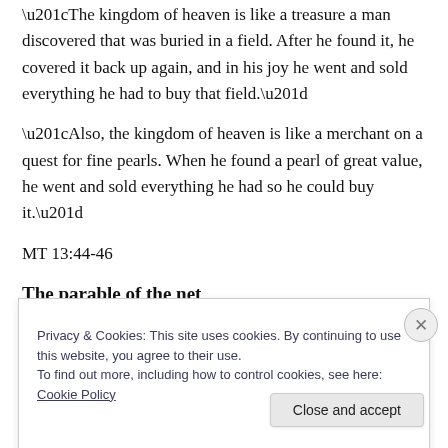“The kingdom of heaven is like a treasure a man discovered that was buried in a field. After he found it, he covered it back up again, and in his joy he went and sold everything he had to buy that field.”
“Also, the kingdom of heaven is like a merchant on a quest for fine pearls. When he found a pearl of great value, he went and sold everything he had so he could buy it.”
MT 13:44-46
The parable of the net
Privacy & Cookies: This site uses cookies. By continuing to use this website, you agree to their use.
To find out more, including how to control cookies, see here: Cookie Policy
Close and accept